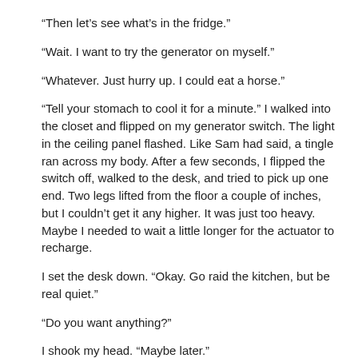“Then let’s see what’s in the fridge.”
“Wait. I want to try the generator on myself.”
“Whatever. Just hurry up. I could eat a horse.”
“Tell your stomach to cool it for a minute.” I walked into the closet and flipped on my generator switch. The light in the ceiling panel flashed. Like Sam had said, a tingle ran across my body. After a few seconds, I flipped the switch off, walked to the desk, and tried to pick up one end. Two legs lifted from the floor a couple of inches, but I couldn’t get it any higher. It was just too heavy. Maybe I needed to wait a little longer for the actuator to recharge.
I set the desk down. “Okay. Go raid the kitchen, but be real quiet.”
“Do you want anything?”
I shook my head. “Maybe later.”
The moment Sam left, I withdrew Damocles’s cowl from under my shirt and laid it on the desk. The empty mask sent a shockwave through my body. The greatest hero in the world was dead, and I couldn’t do anything to stop the fiends who killed him.